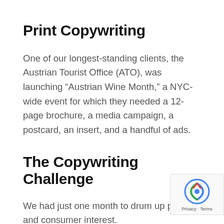Print Copywriting
One of our longest-standing clients, the Austrian Tourist Office (ATO), was launching “Austrian Wine Month,” a NYC-wide event for which they needed a 12-page brochure, a media campaign, a postcard, an insert, and a handful of ads.
The Copywriting Challenge
We had just one month to drum up publicity and consumer interest.